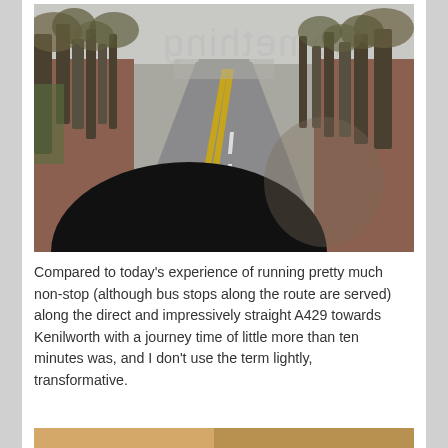[Figure (photo): A road photo taken from inside a vehicle showing a straight wide road (A429) flanked by trees with autumn/winter foliage and reddish-brown ground cover. A black dashboard or mirror intrudes at the bottom left. Mirrored text appears at the top of the image reading 'something' reflected. The road stretches straight into the distance.]
Compared to today's experience of running pretty much non-stop (although bus stops along the route are served) along the direct and impressively straight A429 towards Kenilworth with a journey time of little more than ten minutes was, and I don't use the term lightly, transformative.
[Figure (photo): Partial view of another photo at the bottom of the page, showing what appears to be a warm-toned outdoor scene, cropped.]